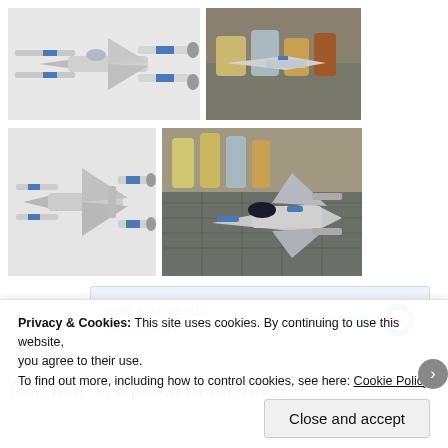[Figure (photo): White X-wing starfighter scale model with blue markings, side/top view on white background]
[Figure (photo): X-wing models in various stages on a workbench with paint supplies]
[Figure (photo): White X-wing scale model with blue accents, angled view on white background]
[Figure (photo): X-wing model close-up on cutting mat with paint bottles in background, detailed cockpit visible]
[Figure (infographic): WordPress app advertisement banner: 'Build a writing habit. Post on the go.' with GET THE APP link and WordPress logo]
REPORT THIS AD
And here is a photo of the finished model – I think it turned out...
Privacy & Cookies: This site uses cookies. By continuing to use this website, you agree to their use. To find out more, including how to control cookies, see here: Cookie Policy
Close and accept